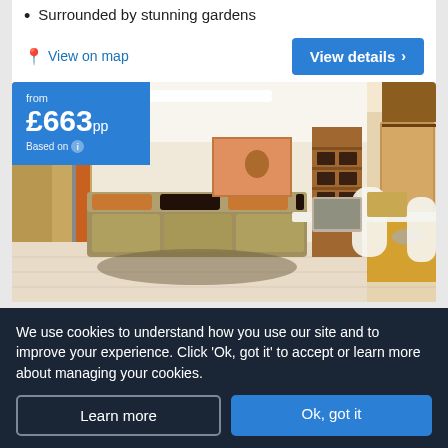Surrounded by stunning gardens
View on map
View details >
[Figure (photo): Hotel room interior showing a sofa with cushions, wooden shelving unit, dining table with chairs, and a kitchenette area. Price badge overlay showing 'from £663pp Based on'.]
We use cookies to understand how you use our site and to improve your experience. Click 'Ok, got it' to accept or learn more about managing your cookies.
Learn more
Ok, got it